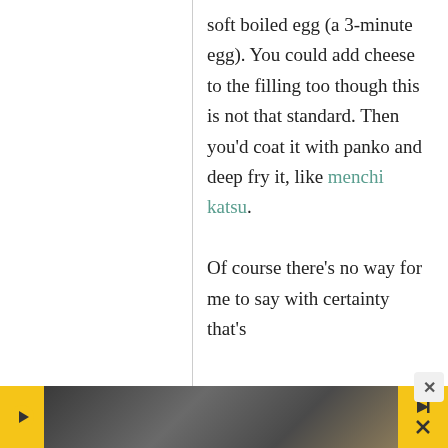soft boiled egg (a 3-minute egg). You could add cheese to the filling too though this is not that standard. Then you'd coat it with panko and deep fry it, like menchi katsu. Of course there's no way for me to say with certainty that's
[Figure (photo): Advertisement banner at the bottom showing a person in a vehicle, with yellow brand icon on the left and playback/close controls on the right]